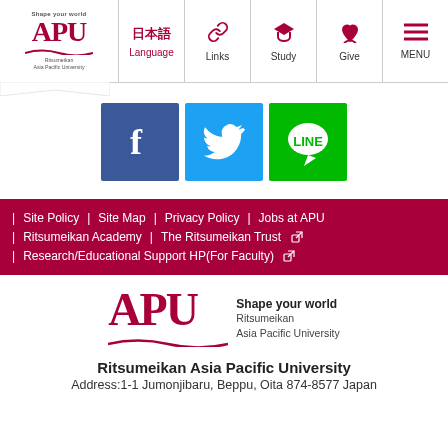[Figure (logo): APU (Ritsumeikan Asia Pacific University) logo with 'Shape your world' tagline in header navigation bar]
[Figure (screenshot): Navigation bar with Japanese language toggle, Links, Study, Give, MENU items]
[Figure (logo): Social media buttons: Facebook (blue), Twitter (light blue), LINE (green)]
| Site Policy | Site Map | Privacy Policy | Jobs at APU
| Ritsumeikan Academy | The Ritsumeikan Trust
| Research/Educational Support HP(For Faculty)
[Figure (logo): APU logo with 'Shape your world / Ritsumeikan Asia Pacific University' text in footer]
Ritsumeikan Asia Pacific University
Address:1-1 Jumonjibaru, Beppu, Oita 874-8577 Japan